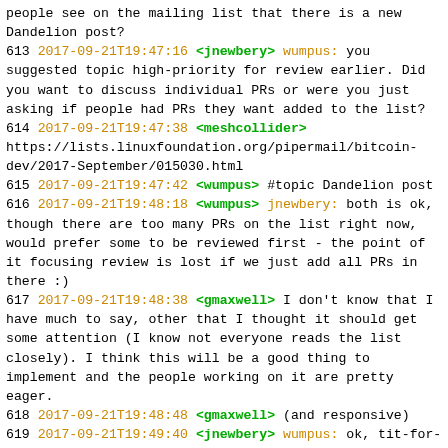people see on the mailing list that there is a new Dandelion post?
613 2017-09-21T19:47:16 <jnewbery> wumpus: you suggested topic high-priority for review earlier. Did you want to discuss individual PRs or were you just asking if people had PRs they want added to the list?
614 2017-09-21T19:47:38 <meshcollider> https://lists.linuxfoundation.org/pipermail/bitcoin-dev/2017-September/015030.html
615 2017-09-21T19:47:42 <wumpus> #topic Dandelion post
616 2017-09-21T19:48:18 <wumpus> jnewbery: both is ok, though there are too many PRs on the list right now, would prefer some to be reviewed first - the point of it focusing review is lost if we just add all PRs in there :)
617 2017-09-21T19:48:38 <gmaxwell> I don't know that I have much to say, other that I thought it should get some attention (I know not everyone reads the list closely). I think this will be a good thing to implement and the people working on it are pretty eager.
618 2017-09-21T19:48:48 <gmaxwell> (and responsive)
619 2017-09-21T19:49:40 <jnewbery> wumpus: ok, tit-for-tat. I'll review a couple of those in the next week. Can you add #10740. I think it's ready for initial review
620 2017-09-21T19:49:40 <wumpus> thanks for